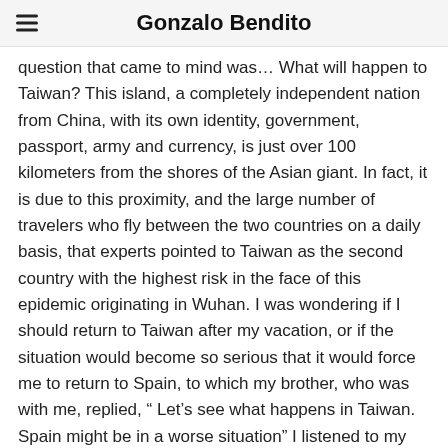Gonzalo Bendito
question that came to mind was… What will happen to Taiwan? This island, a completely independent nation from China, with its own identity, government, passport, army and currency, is just over 100 kilometers from the shores of the Asian giant. In fact, it is due to this proximity, and the large number of travelers who fly between the two countries on a daily basis, that experts pointed to Taiwan as the second country with the highest risk in the face of this epidemic originating in Wuhan. I was wondering if I should return to Taiwan after my vacation, or if the situation would become so serious that it would force me to return to Spain, to which my brother, who was with me, replied, “ Let’s see what happens in Taiwan. Spain might be in a worse situation” I listened to my older brother, and at the end of my vacation, I returned to Taiwan, confident that its government and public health system, the most efficient in the world according to many studies, would do a good